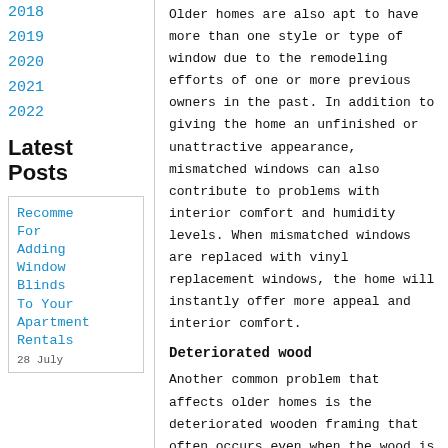2018
2019
2020
2021
2022
Latest Posts
Recomme For Adding Window Blinds To Your Apartment Rentals
28 July
Older homes are also apt to have more than one style or type of window due to the remodeling efforts of one or more previous owners in the past. In addition to giving the home an unfinished or unattractive appearance, mismatched windows can also contribute to problems with interior comfort and humidity levels. When mismatched windows are replaced with vinyl replacement windows, the home will instantly offer more appeal and interior comfort.
Deteriorated wood
Another common problem that affects older homes is the deteriorated wooden framing that often occurs even when the wood is painted or stained. Older metal or wooden-framed windows often were